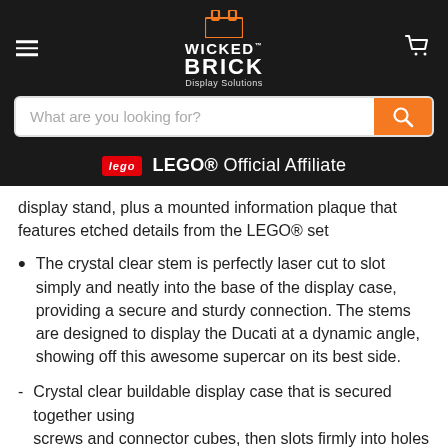[Figure (logo): Wicked Brick Display Solutions logo with hamburger menu and cart icon on dark background, plus LEGO Official Affiliate badge and search bar]
display stand, plus a mounted information plaque that features etched details from the LEGO® set
The crystal clear stem is perfectly laser cut to slot simply and neatly into the base of the display case, providing a secure and sturdy connection. The stems are designed to display the Ducati at a dynamic angle, showing off this awesome supercar on its best side.
Crystal clear buildable display case that is secured together using screws and connector cubes, then slots firmly into holes in the base plate. This gives the product a prestigious look and ensures